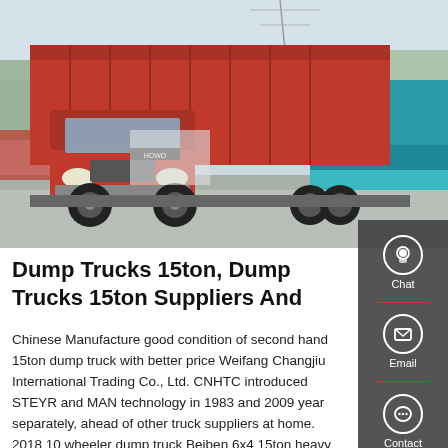[Figure (photo): Red HOWO dump truck parked in a lot, with a teal/blue dump truck visible in the background on the right side. Industrial area with trees in the background.]
Dump Trucks 15ton, Dump Trucks 15ton Suppliers And
Chinese Manufacture good condition of second hand 15ton dump truck with better price Weifang Changjiu International Trading Co., Ltd. CNHTC introduced STEYR and MAN technology in 1983 and 2009 year separately, ahead of other truck suppliers at home. 2018 10 wheeler dump truck Beiben 6x4 15ton heavy